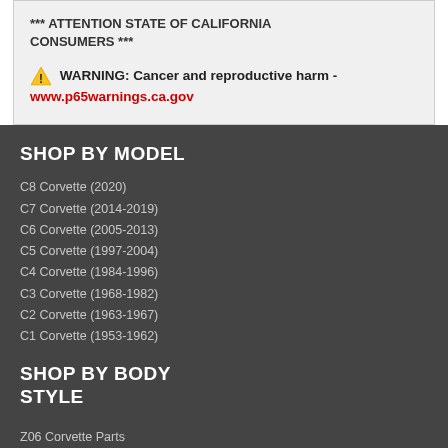*** ATTENTION STATE OF CALIFORNIA CONSUMERS ***
⚠ WARNING: Cancer and reproductive harm - www.p65warnings.ca.gov
SHOP BY MODEL
C8 Corvette (2020)
C7 Corvette (2014-2019)
C6 Corvette (2005-2013)
C5 Corvette (1997-2004)
C4 Corvette (1984-1996)
C3 Corvette (1968-1982)
C2 Corvette (1963-1967)
C1 Corvette (1953-1962)
SHOP BY BODY STYLE
Z06 Corvette Parts